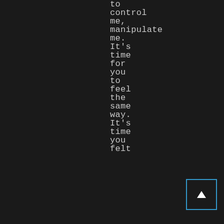to control me, manipulate me. It's time for you to feel the same way. It's time you felt
[Figure (other): A small UI button with a blue border and upward-pointing triangle arrow icon, positioned in the bottom-right corner.]